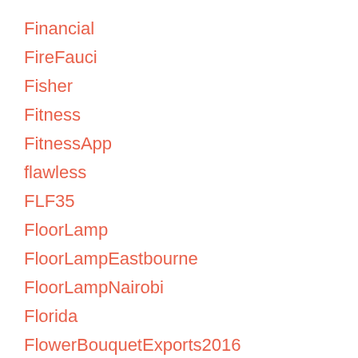Financial
FireFauci
Fisher
Fitness
FitnessApp
flawless
FLF35
FloorLamp
FloorLampEastbourne
FloorLampNairobi
Florida
FlowerBouquetExports2016
Flyss
foam